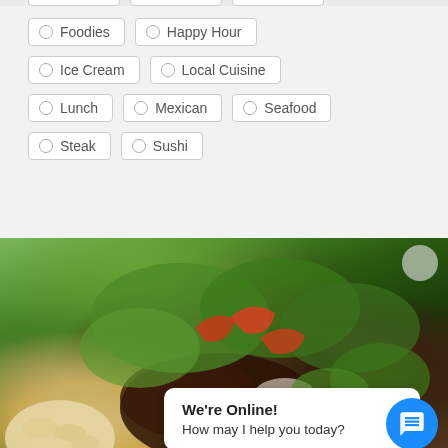○ Foodies
○ Happy Hour
○ Ice Cream
○ Local Cuisine
○ Lunch
○ Mexican
○ Seafood
○ Steak
○ Sushi
[Figure (photo): Close-up photo of a food dish with greens, vegetables including red bell peppers, beans, and meat with herbs]
We're Online!
How may I help you today?